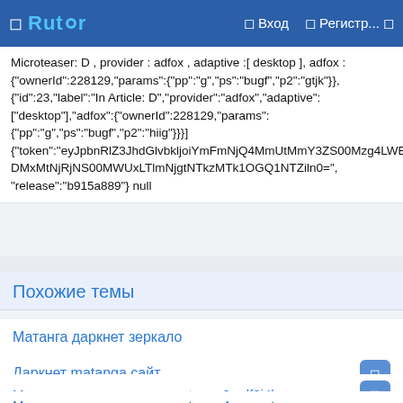Rutor — Вход — Регистр...
Microteaser: D , provider : adfox , adaptive :[ desktop ], adfox : {"ownerId":228129,"params":{"pp":"g","ps":"bugf","p2":"gtjk"}}, {"id":23,"label":"In Article: D","provider":"adfox","adaptive": ["desktop"],"adfox":{"ownerId":228129,"params": {"pp":"g","ps":"bugf","p2":"hiig"}}}] {"token":"eyJpbnRlZ3JhdGlvbkljoiYmFmNjQ4MmUtMmY3ZS00Mzg4LWEyZGYtMDJkYjk2ZmIzOWQwIiwic2VjcmV0IjoiMTFjNDMxMtNjRjNS00MWUxLTlmNjgtNTkzMTk1OGQ1NTZiln0=", "release":"b915a889"} null
Похожие темы
Матанга даркнет зеркало
Даркнет matanga сайт
Матанга ссылка даркнет matanga6rudf3j4hww com
Матанга ссылка даркнет matanga4supports com